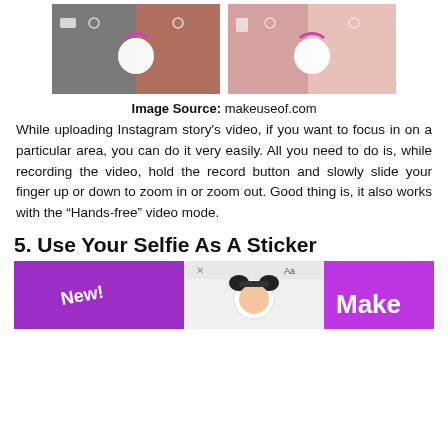[Figure (photo): Two side-by-side smartphone screenshots showing Instagram camera zoom interface with circular record button and purple arc indicator]
Image Source: makeuseof.com
While uploading Instagram story's video, if you want to focus in on a particular area, you can do it very easily. All you need to do is, while recording the video, hold the record button and slowly slide your finger up or down to zoom in or zoom out. Good thing is, it also works with the “Hands-free” video mode.
5. Use Your Selfie As A Sticker
[Figure (screenshot): Screenshot showing Instagram story interface with purple background, 'New!' text in white, a selfie sticker with panda ears, and 'Make' text in white on right side]